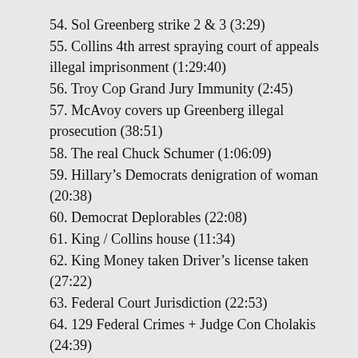54. Sol Greenberg strike 2 & 3 (3:29)
55. Collins 4th arrest spraying court of appeals illegal imprisonment (1:29:40)
56. Troy Cop Grand Jury Immunity (2:45)
57. McAvoy covers up Greenberg illegal prosecution (38:51)
58. The real Chuck Schumer (1:06:09)
59. Hillary's Democrats denigration of woman (20:38)
60. Democrat Deplorables (22:08)
61. King / Collins house (11:34)
62. King Money taken Driver's license taken (27:22)
63. Federal Court Jurisdiction (22:53)
64. 129 Federal Crimes + Judge Con Cholakis (24:39)
65. McAvoy violates Collins constitutional rights 94.988/ (18:42)